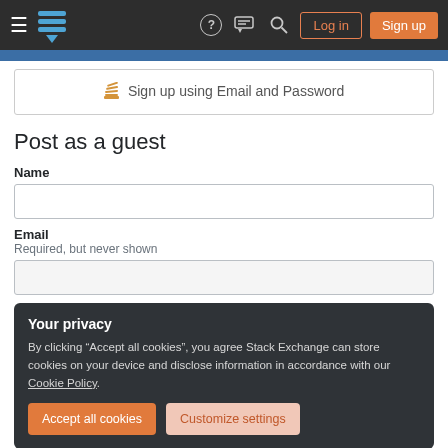Stack Exchange navigation bar with hamburger menu, logo, help, chat, search icons, Log in and Sign up buttons
Sign up using Email and Password
Post as a guest
Name
Email
Required, but never shown
Your privacy
By clicking "Accept all cookies", you agree Stack Exchange can store cookies on your device and disclose information in accordance with our Cookie Policy.
Accept all cookies  Customize settings
tagged mysql uninstall or ask your own question.